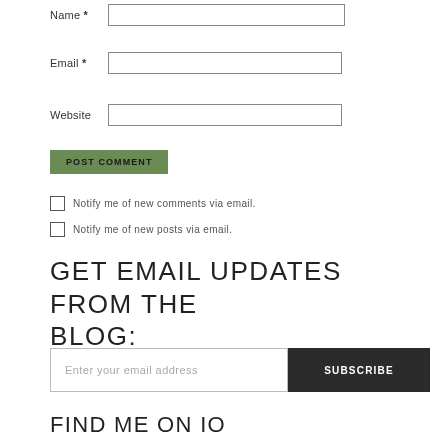Name *
Email *
Website
POST COMMENT
Notify me of new comments via email.
Notify me of new posts via email.
GET EMAIL UPDATES FROM THE BLOG:
Enter your email address
SUBSCRIBE
FIND ME ON IO